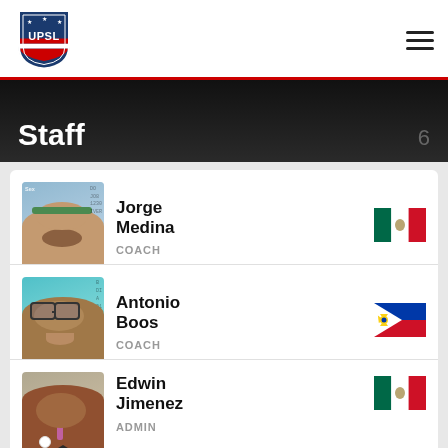UPSL
Staff 6
Jorge Medina - COACH - Mexico
Antonio Boos - COACH - Philippines
Edwin Jimenez - ADMIN - Mexico